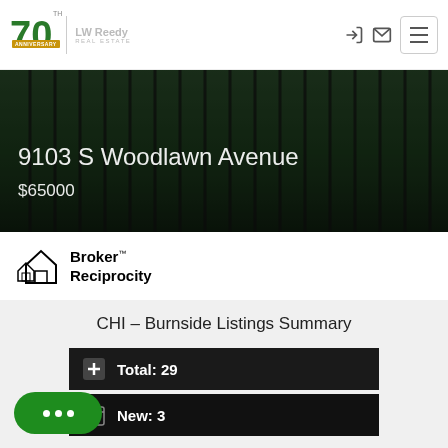[Figure (screenshot): LW Reedy Real Estate 70th Anniversary logo with house icon]
[Figure (photo): Property hero image showing 9103 S Woodlawn Avenue with dark fence and greenery background, price $65000]
[Figure (logo): Broker Reciprocity logo with house icon]
CHI – Burnside Listings Summary
Total: 29
New: 3